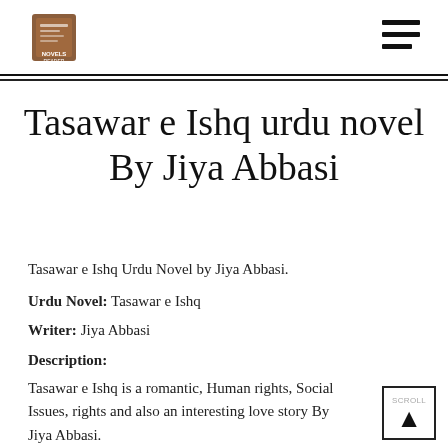Novels Reader logo and navigation menu
Tasawar e Ishq urdu novel By Jiya Abbasi
Tasawar e Ishq Urdu Novel by Jiya Abbasi.
Urdu Novel: Tasawar e Ishq
Writer: Jiya Abbasi
Description:
Tasawar e Ishq is a romantic, Human rights, Social Issues, rights and also an interesting love story By Jiya Abbasi.